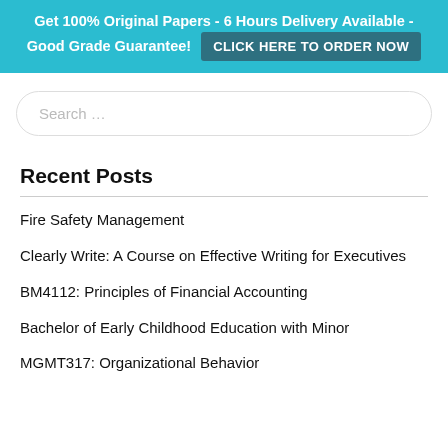Get 100% Original Papers - 6 Hours Delivery Available - Good Grade Guarantee! CLICK HERE TO ORDER NOW
[Figure (screenshot): Search input field with rounded borders and placeholder text 'Search ...']
Recent Posts
Fire Safety Management
Clearly Write: A Course on Effective Writing for Executives
BM4112: Principles of Financial Accounting
Bachelor of Early Childhood Education with Minor
MGMT317: Organizational Behavior